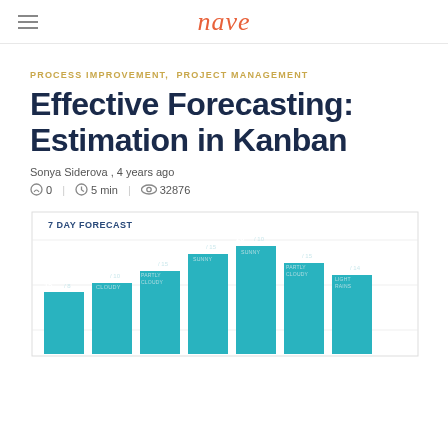nave
PROCESS IMPROVEMENT,  PROJECT MANAGEMENT
Effective Forecasting: Estimation in Kanban
Sonya Siderova , 4 years ago
0  |  5 min  |  32876
[Figure (bar-chart): 7 DAY FORECAST]